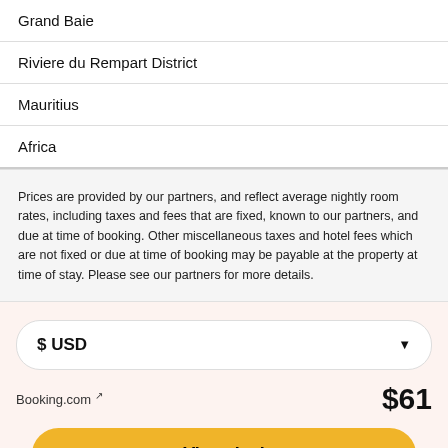Grand Baie
Riviere du Rempart District
Mauritius
Africa
Prices are provided by our partners, and reflect average nightly room rates, including taxes and fees that are fixed, known to our partners, and due at time of booking. Other miscellaneous taxes and hotel fees which are not fixed or due at time of booking may be payable at the property at time of stay. Please see our partners for more details.
$USD
Booking.com ↗
$61
View deal